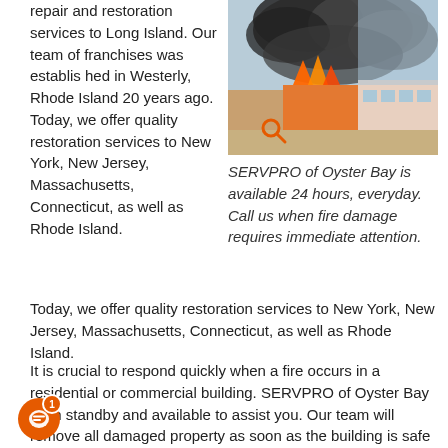repair and restoration services to Long Island. Our team of franchises was established in Westerly, Rhode Island 20 years ago. Today, we offer quality restoration services to New York, New Jersey, Massachusetts, Connecticut, as well as Rhode Island.
[Figure (photo): A building on fire with large dark smoke clouds rising, photographed outdoors. An orange search/magnify icon is overlaid in the lower-left corner of the image.]
SERVPRO of Oyster Bay is available 24 hours, everyday. Call us when fire damage requires immediate attention.
It is crucial to respond quickly when a fire occurs in a residential or commercial building. SERVPRO of Oyster Bay is on standby and available to assist you. Our team will remove all damaged property as soon as the building is safe for us to enter. If a fire occurs in a residential home, we will consult with the homeowners to determine which items they